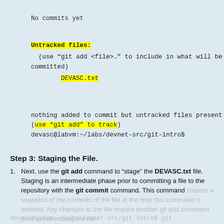No commits yet
Untracked files:
  (use "git add <file>..." to include in what will be committed)
        DEVASC.txt
nothing added to commit but untracked files present
(use "git add" to track)
devasc@labvm:~/labs/devnet-src/git-intro$
Step 3: Staging the File.
Next, use the git add command to "stage" the DEVASC.txt file. Staging is an intermediate phase prior to committing a file to the repository with the git commit command. This command creates a snapshot of the contents of the file at the time this command is entered. Any changes to the file require another git add command prior to committing the file.
devasc@labvm:~/labs/devnet-src/git-intro$ git